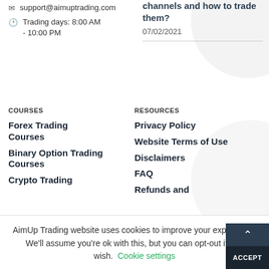support@aimuptrading.com
Trading days: 8:00 AM - 10:00 PM
channels and how to trade them?
07/02/2021
COURSES
RESOURCES
Forex Trading Courses
Binary Option Trading Courses
Crypto Trading
Privacy Policy
Website Terms of Use
Disclaimers
FAQ
Refunds and
AimUp Trading website uses cookies to improve your experience. We'll assume you're ok with this, but you can opt-out if you wish. Cookie settings ACCEPT